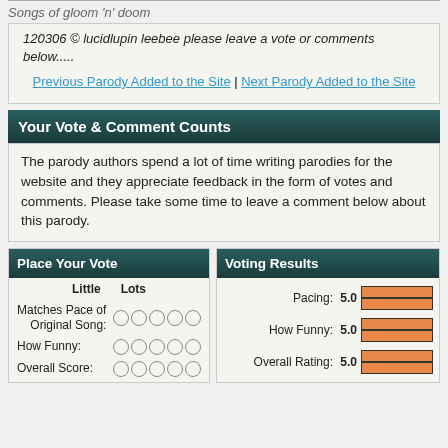Songs of gloom 'n' doom
120306 © lucidlupin leebee please leave a vote or comments below.....
Previous Parody Added to the Site | Next Parody Added to the Site
Your Vote & Comment Counts
The parody authors spend a lot of time writing parodies for the website and they appreciate feedback in the form of votes and comments. Please take some time to leave a comment below about this parody.
Place Your Vote
Voting Results
|  | Little | Lots |
| --- | --- | --- |
| Matches Pace of Original Song: | ○○○○○ |  |
| How Funny: | ○○○○○ |  |
| Overall Score: | ○○○○○ |  |
|  | Score | Bar |
| --- | --- | --- |
| Pacing: | 5.0 | █████ |
| How Funny: | 5.0 | █████ |
| Overall Rating: | 5.0 | █████ |